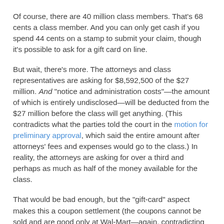Of course, there are 40 million class members. That's 68 cents a class member. And you can only get cash if you spend 44 cents on a stamp to submit your claim, though it's possible to ask for a gift card on line.
But wait, there's more. The attorneys and class representatives are asking for $8,592,500 of the $27 million. And "notice and administration costs"—the amount of which is entirely undisclosed—will be deducted from the $27 million before the class will get anything. (This contradicts what the parties told the court in the motion for preliminary approval, which said the entire amount after attorneys' fees and expenses would go to the class.) In reality, the attorneys are asking for over a third and perhaps as much as half of the money available for the class.
That would be bad enough, but the "gift-card" aspect makes this a coupon settlement (the coupons cannot be sold and are good only at Wal-Mart—again, contradicting the motion for preliminary approval, which falsely called them "fully transferable"), and there seems to be no plan to have a fee